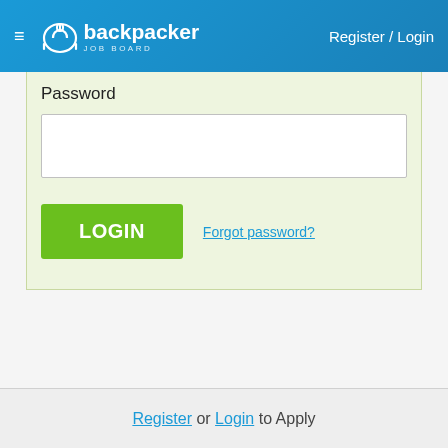backpacker JOB BOARD  Register / Login
Password
[Figure (screenshot): Empty password input field (white rectangle with border)]
LOGIN   Forgot password?
Register or Login to Apply